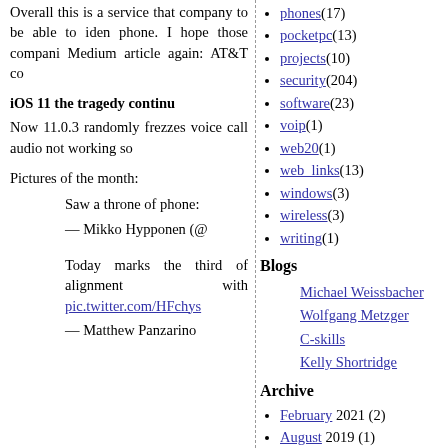Overall this is a service that company to be able to iden phone. I hope those compani Medium article again: AT&T co
iOS 11 the tragedy continu
Now 11.0.3 randomly frezzes voice call audio not working so
Pictures of the month:
Saw a throne of phone:
— Mikko Hypponen (@
Today marks the third of alignment with pic.twitter.com/HFchys
— Matthew Panzarino
phones(17)
pocketpc(13)
projects(10)
security(204)
software(23)
voip(1)
web20(1)
web_links(13)
windows(3)
wireless(3)
writing(1)
Blogs
Michael Weissbacher
Wolfgang Metzger
C-skills
Kelly Shortridge
Archive
February 2021 (2)
August 2019 (1)